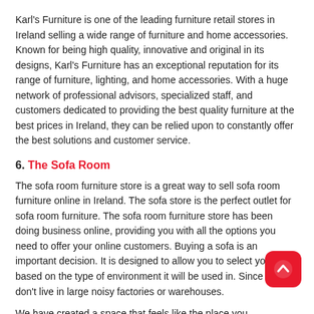Karl's Furniture is one of the leading furniture retail stores in Ireland selling a wide range of furniture and home accessories. Known for being high quality, innovative and original in its designs, Karl's Furniture has an exceptional reputation for its range of furniture, lighting, and home accessories. With a huge network of professional advisors, specialized staff, and customers dedicated to providing the best quality furniture at the best prices in Ireland, they can be relied upon to constantly offer the best solutions and customer service.
6. The Sofa Room
The sofa room furniture store is a great way to sell sofa room furniture online in Ireland. The sofa store is the perfect outlet for sofa room furniture. The sofa room furniture store has been doing business online, providing you with all the options you need to offer your online customers. Buying a sofa is an important decision. It is designed to allow you to select your sofa based on the type of environment it will be used in. Since we don't live in large noisy factories or warehouses.
We have created a space that feels like the place you want to come home to. Here is a visual representation of our sofas in your home we hope will help you visualize them. Depending on the size and layout of your room, we can offer you advice. Please choose the arrangement that best suits your space! Please come by and let us know what you think about our services.
7. Meubles
Meubles is a furniture store based in Dublin, Ireland. The company was